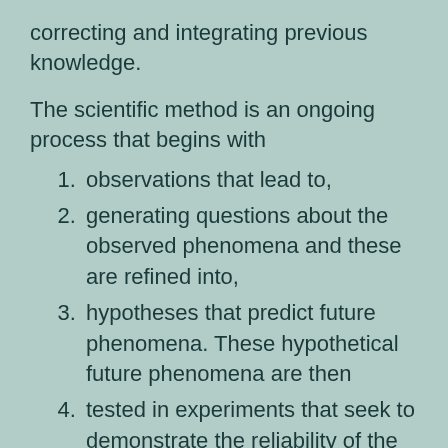correcting and integrating previous knowledge.
The scientific method is an ongoing process that begins with
observations that lead to,
generating questions about the observed phenomena and these are refined into,
hypotheses that predict future phenomena. These hypothetical future phenomena are then
tested in experiments that seek to demonstrate the reliability of the hypotheses to generate the predicted